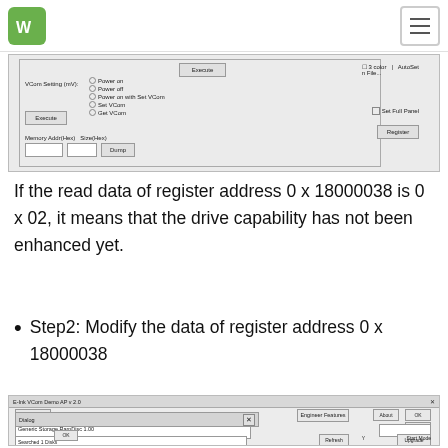[Figure (screenshot): Software dialog screenshot showing VCom settings panel with Execute button, memory address/size fields, and Dump button]
If the read data of register address 0 x 18000038 is 0 x 02, it means that the drive capability has not been enhanced yet.
Step2: Modify the data of register address 0 x 18000038
[Figure (screenshot): E-Ink VCom Demo AP v2.0 software window showing: Connect button, Engineer Features button, Generic Storage RamDisc 1.00, log area with 'Read Reg Successful. Reg Val: 0x 2' and 'Write Reg Successful -> Write Val: 0x602' highlighted in red border, Display Mode controls, Refresh/Upgrade buttons, Dialog bar at bottom]